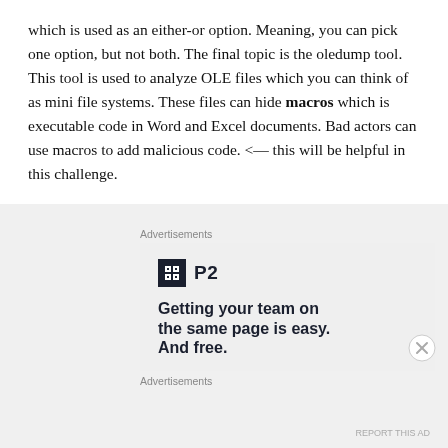which is used as an either-or option. Meaning, you can pick one option, but not both. The final topic is the oledump tool. This tool is used to analyze OLE files which you can think of as mini file systems. These files can hide macros which is executable code in Word and Excel documents. Bad actors can use macros to add malicious code. <— this will be helpful in this challenge.
Advertisements
[Figure (other): Advertisement for P2 - Getting your team on the same page is easy. And free.]
Advertisements